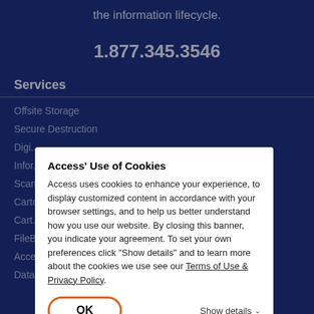the information lifecycle.
1.877.345.3546
Services
Offsite Storage
Secure Destruction
Digital...
Information...
Scan...
Carton...
Cart...
FileBridge Records
Access Unify
Data Breach Response
Access' Use of Cookies
Access uses cookies to enhance your experience, to display customized content in accordance with your browser settings, and to help us better understand how you use our website. By closing this banner, you indicate your agreement. To set your own preferences click "Show details" and to learn more about the cookies we use see our Terms of Use & Privacy Policy.
OK
Show details